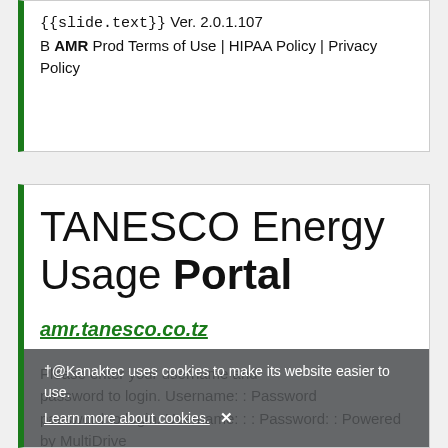{{slide.text}} Ver. 2.0.1.107 B AMR Prod Terms of Use | HIPAA Policy | Privacy Policy
TANESCO Energy Usage Portal
amr.tanesco.co.tz
Please enter your username and password to login. Username: : Password: : Powered by MultiDrive Web Manager | © 2009 EDMI Limited
@Kanaktec uses cookies to make its website easier to use. Learn more about cookies. ✕